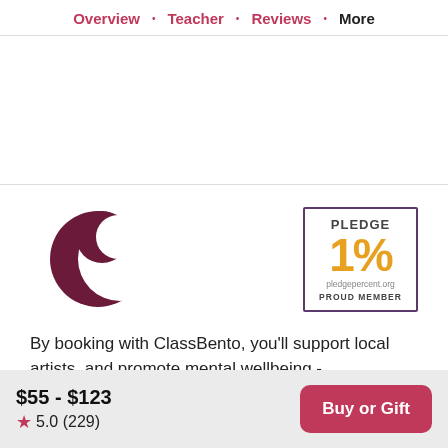Overview · Teacher · Reviews · More
[Figure (logo): ClassBento crescent moon logo in dark maroon/purple]
[Figure (logo): Pledge 1% proud member badge with orange 1% text and dark purple border]
By booking with ClassBento, you'll support local artists, and promote mental wellbeing -
$55 - $123
★ 5.0 (229)
Buy or Gift